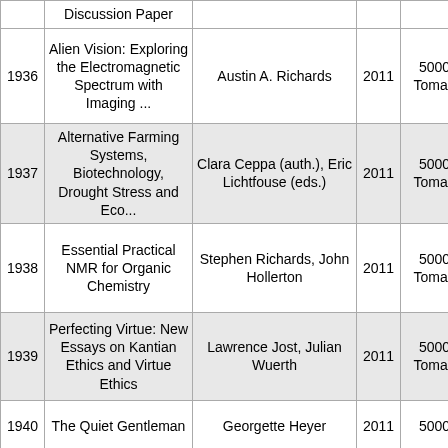| # | Title | Author | Year | Price |  |
| --- | --- | --- | --- | --- | --- |
|  | Discussion Paper |  |  |  |  |
| 1936 | Alien Vision: Exploring the Electromagnetic Spectrum with Imaging ... | Austin A. Richards | 2011 | 5000 Toman |  |
| 1937 | Alternative Farming Systems, Biotechnology, Drought Stress and Eco... | Clara Ceppa (auth.), Eric Lichtfouse (eds.) | 2011 | 5000 Toman |  |
| 1938 | Essential Practical NMR for Organic Chemistry | Stephen Richards, John Hollerton | 2011 | 5000 Toman |  |
| 1939 | Perfecting Virtue: New Essays on Kantian Ethics and Virtue Ethics | Lawrence Jost, Julian Wuerth | 2011 | 5000 Toman |  |
| 1940 | The Quiet Gentleman | Georgette Heyer | 2011 | 5000 |  |